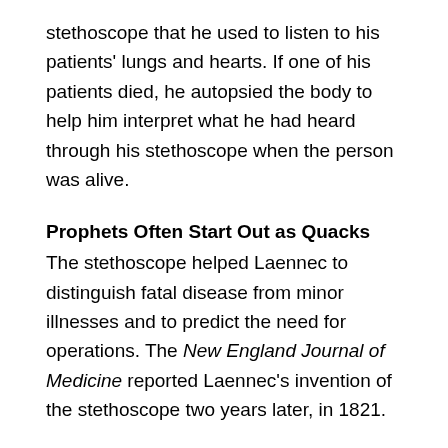stethoscope that he used to listen to his patients' lungs and hearts. If one of his patients died, he autopsied the body to help him interpret what he had heard through his stethoscope when the person was alive.
Prophets Often Start Out as Quacks
The stethoscope helped Laennec to distinguish fatal disease from minor illnesses and to predict the need for operations. The New England Journal of Medicine reported Laennec's invention of the stethoscope two years later, in 1821.
New discoveries in medicine are often treated with ridicule by physicians. Many doctors find it difficult to unlearn wrong information that they were taught in medical school and because of this, they impede